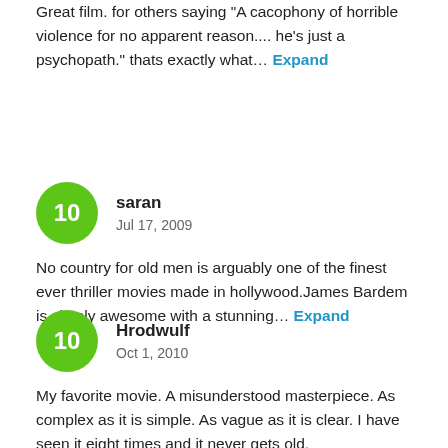Great film. for others saying "A cacophony of horrible violence for no apparent reason.... he's just a psychopath." thats exactly what… Expand
saran
Jul 17, 2009
No country for old men is arguably one of the finest ever thriller movies made in hollywood.James Bardem is simply awesome with a stunning… Expand
Hrodwulf
Oct 1, 2010
My favorite movie. A misunderstood masterpiece. As complex as it is simple. As vague as it is clear. I have seen it eight times and it never gets old.